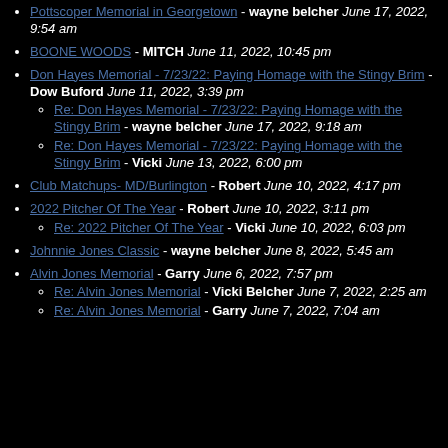Pottscoper Memorial in Georgetown - wayne belcher June 17, 2022, 9:54 am
BOONE WOODS - MITCH June 11, 2022, 10:45 pm
Don Hayes Memorial - 7/23/22: Paying Homage with the Stingy Brim - Dow Buford June 11, 2022, 3:39 pm
Re: Don Hayes Memorial - 7/23/22: Paying Homage with the Stingy Brim - wayne belcher June 17, 2022, 9:18 am
Re: Don Hayes Memorial - 7/23/22: Paying Homage with the Stingy Brim - Vicki June 13, 2022, 6:00 pm
Club Matchups- MD/Burlington - Robert June 10, 2022, 4:17 pm
2022 Pitcher Of The Year - Robert June 10, 2022, 3:11 pm
Re: 2022 Pitcher Of The Year - Vicki June 10, 2022, 6:03 pm
Johnnie Jones Classic - wayne belcher June 8, 2022, 5:45 am
Alvin Jones Memorial - Garry June 6, 2022, 7:57 pm
Re: Alvin Jones Memorial - Vicki Belcher June 7, 2022, 2:25 am
Re: Alvin Jones Memorial - Garry June 7, 2022, 7:04 am